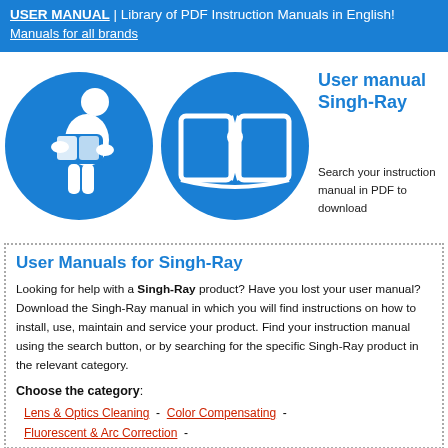USER MANUAL | Library of PDF Instruction Manuals in English! Manuals for all brands
[Figure (illustration): Two blue circular icons side by side: left shows a person reading a book, right shows an open book with an info 'i' symbol]
User manual Singh-Ray
Search your instruction manual in PDF to download
User Manuals for Singh-Ray
Looking for help with a Singh-Ray product? Have you lost your user manual? Download the Singh-Ray manual in which you will find instructions on how to install, use, maintain and service your product. Find your instruction manual using the search button, or by searching for the specific Singh-Ray product in the relevant category.
Choose the category:
Lens & Optics Cleaning  -  Color Compensating  -
Fluorescent & Arc Correction  -